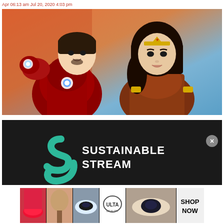Apr 06:13 am Jul 20, 2020 4:03 pm
[Figure (photo): Composite image of Iron Man (in red suit with glowing arc reactor in palm) and Wonder Woman (in armor with gold tiara) against an orange-blue sky background.]
[Figure (logo): Sustainable Stream logo on dark background - teal/green stylized 'S' shape next to white text reading SUSTAINABLE STREAM]
[Figure (photo): Bottom advertisement banner showing beauty/makeup images and ULTA beauty logo with SHOP NOW call to action]